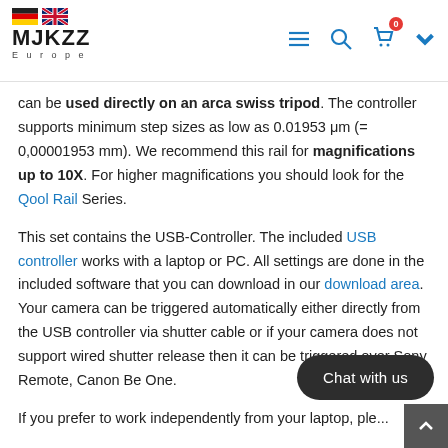MJKZZ Europe — navigation header with flags, menu, search, cart icons
can be used directly on an arca swiss tripod. The controller supports minimum step sizes as low as 0.01953 μm (= 0,00001953 mm). We recommend this rail for magnifications up to 10X. For higher magnifications you should look for the Qool Rail Series.
This set contains the USB-Controller. The included USB controller works with a laptop or PC. All settings are done in the included software that you can download in our download area. Your camera can be triggered automatically either directly from the USB controller via shutter cable or if your camera does not support wired shutter release then it can be triggered over Sony Remote, Canon B... e One.
If you prefer to work independently from your laptop, ple...